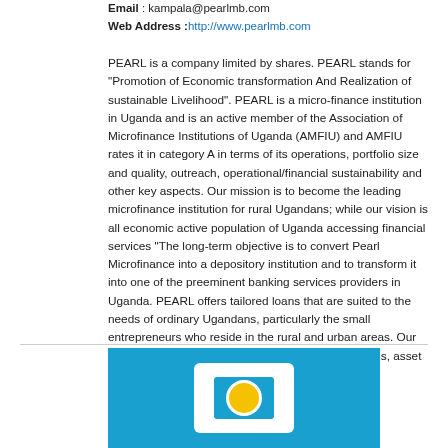Email : kampala@pearlmb.com
Web Address : http://www.pearlmb.com
PEARL is a company limited by shares. PEARL stands for "Promotion of Economic transformation And Realization of sustainable Livelihood". PEARL is a micro-finance institution in Uganda and is an active member of the Association of Microfinance Institutions of Uganda (AMFIU) and AMFIU rates it in category A in terms of its operations, portfolio size and quality, outreach, operational/financial sustainability and other key aspects. Our mission is to become the leading microfinance institution for rural Ugandans; while our vision is all economic active population of Uganda accessing financial services "The long-term objective is to convert Pearl Microfinance into a depository institution and to transform it into one of the preeminent banking services providers in Uganda. PEARL offers tailored loans that are suited to the needs of ordinary Ugandans, particularly the small entrepreneurs who reside in the rural and urban areas. Our mix of products includes group loans, individual loans, asset
[Figure (logo): Pearl Microfinance logo on blue background with white card shape and yellow circle]